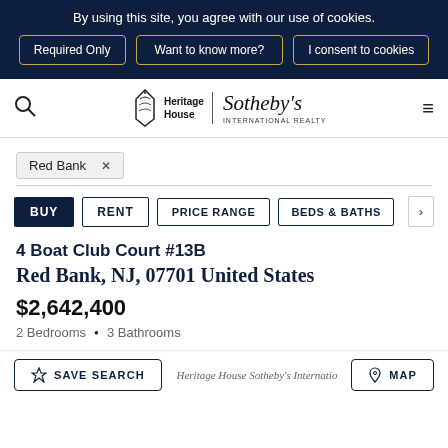By using this site, you agree with our use of cookies.
Required Only | Want to know more? | I consent to cookies
[Figure (logo): Heritage House Sotheby's International Realty logo with lantern icon]
Red Bank ×
BUY  RENT  PRICE RANGE  BEDS & BATHS  >
4 Boat Club Court #13B
Red Bank, NJ, 07701 United States
$2,642,400
2 Bedrooms • 3 Bathrooms
SAVE SEARCH
Heritage House Sotheby's International Realty
MAP